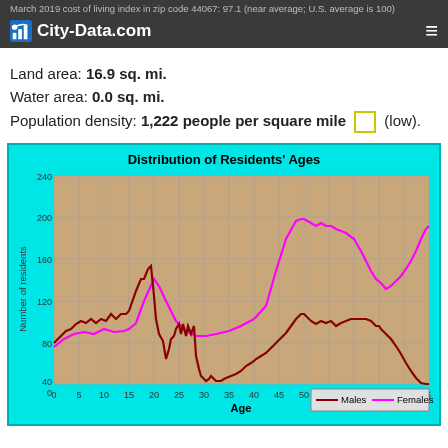March 2019 cost of living index in zip code 44067: 97.1 (near average; U.S. average is 100)
Land area: 16.9 sq. mi.
Water area: 0.0 sq. mi.
Population density: 1,222 people per square mile (low).
[Figure (continuous-plot): Continuous line chart showing distribution of residents ages for Males (dark red) and Females (magenta/pink). Both lines start around 80-120 at age 0, males peak around age 15-20 near 160 then drop to ~70 at age 20, both rise to peak near age 50 (females ~190, males ~185), then decline toward age 75+ where males drop to near 0 and females to about 35.]